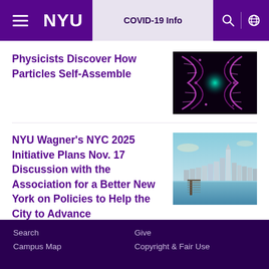NYU | COVID-19 Info
Physicists Discover How Particles Self-Assemble
[Figure (photo): Glowing DNA double helix strands on dark background, purple/magenta colored]
NYU Wagner’s NYC 2025 Initiative Plans Nov. 17 Discussion with the Association for a Better New York on Policies to Help the City to Advance
[Figure (photo): New York City skyline viewed from water with a wooden dock/pier in the foreground, blue sky]
Search | Give | Campus Map | Copyright & Fair Use